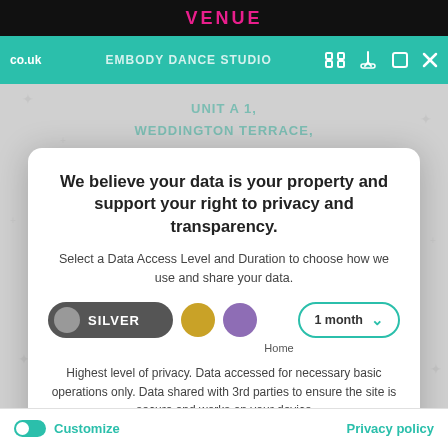VENUE
co.uk   EMBODY DANCE STUDIO
UNIT A 1, WEDDINGTON TERRACE, WEDDINGTON, NUNEATON AG
We believe your data is your property and support your right to privacy and transparency.
Select a Data Access Level and Duration to choose how we use and share your data.
[Figure (infographic): Privacy consent controls: Silver toggle button (active), gold dot, purple dot, 1 month dropdown selector]
Home
Highest level of privacy. Data accessed for necessary basic operations only. Data shared with 3rd parties to ensure the site is secure and works on your device
Listed in the Nuneaton Directory
Save my preferences
Privacy Policy
Customize   Privacy policy